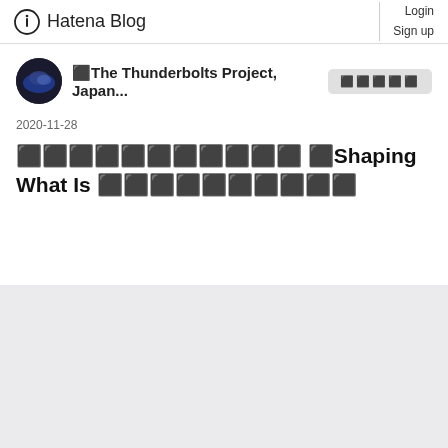Hatena Blog  Login  Sign up
⬛The Thunderbolts Project, Japan...
2020-11-28
⬛⬛⬛⬛⬛⬛⬛⬛⬛⬛⬛ ⬛Shaping What Is ⬛⬛⬛⬛⬛⬛⬛⬛⬛⬛